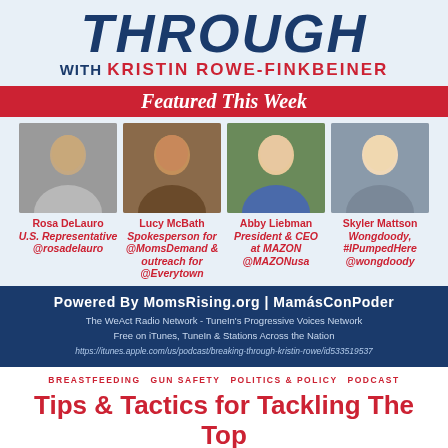THROUGH with KRISTIN ROWE-FINKBEINER
[Figure (infographic): Featured This Week banner with red ribbon background and white italic script text]
[Figure (photo): Headshot of Rosa DeLauro]
Rosa DeLauro
U.S. Representative
@rosadelauro
[Figure (photo): Headshot of Lucy McBath]
Lucy McBath
Spokesperson for @MomsDemand & outreach for @Everytown
[Figure (photo): Headshot of Abby Liebman]
Abby Liebman
President & CEO at MAZON
@MAZONusa
[Figure (photo): Headshot of Skyler Mattson]
Skyler Mattson
Wongdoody, #IPumpedHere
@wongdoody
Powered By MomsRising.org | MamásConPoder
The WeAct Radio Network - TuneIn's Progressive Voices Network
Free on iTunes, TuneIn & Stations Across the Nation
https://itunes.apple.com/us/podcast/breaking-through-kristin-rowe/id533519537
BREASTFEEDING   GUN SAFETY   POLITICS & POLICY   PODCAST
Tips & Tactics for Tackling The Top Topics Facing Our Nation